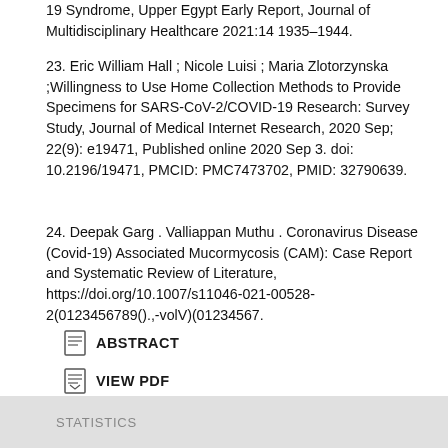19 Syndrome, Upper Egypt Early Report, Journal of Multidisciplinary Healthcare 2021:14 1935–1944.
23. Eric William Hall ; Nicole Luisi ; Maria Zlotorzynska ;Willingness to Use Home Collection Methods to Provide Specimens for SARS-CoV-2/COVID-19 Research: Survey Study, Journal of Medical Internet Research, 2020 Sep; 22(9): e19471, Published online 2020 Sep 3. doi: 10.2196/19471, PMCID: PMC7473702, PMID: 32790639.
24. Deepak Garg . Valliappan Muthu . Coronavirus Disease (Covid-19) Associated Mucormycosis (CAM): Case Report and Systematic Review of Literature, https://doi.org/10.1007/s11046-021-00528-2(0123456789().,‐volV)(01234567.
ABSTRACT
VIEW PDF
DOWNLOAD PDF
STATISTICS